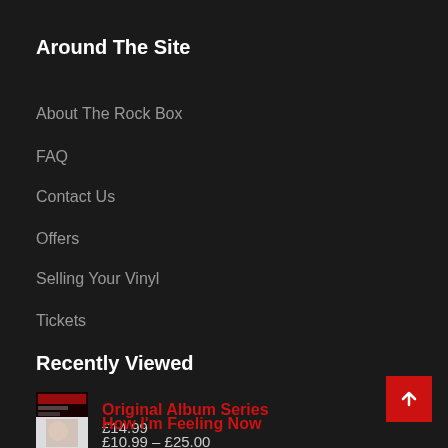Around The Site
About The Rock Box
FAQ
Contact Us
Offers
Selling Your Vinyl
Tickets
Recently Viewed
Original Album Series £14.99
How I'm Feeling Now £10.99 – £25.00